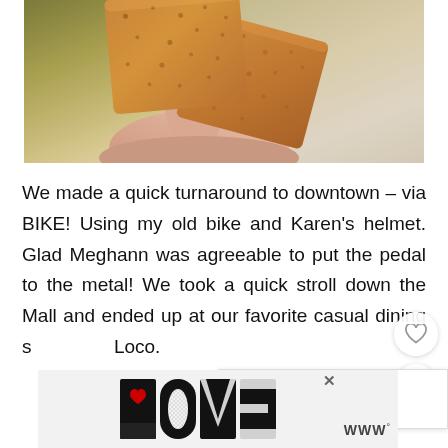[Figure (photo): A hand holding up two graham crackers / wheat crackers against a blurred olive-green and light background]
We made a quick turnaround to downtown – via BIKE! Using my old bike and Karen's helmet. Glad Meghann was agreeable to put the pedal to the metal! We took a quick stroll down the Mall and ended up at our favorite casual dining s… Loco.
[Figure (illustration): Decorative LOVE text logo with intricate black and white pattern lettering and a small red heart detail]
[Figure (other): WHAT'S NEXT panel with thumbnail image and text: Everything Is Better As Pie]